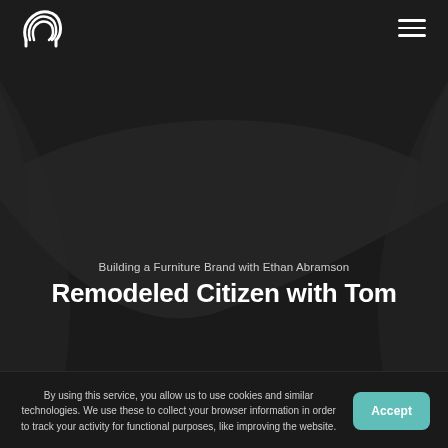[Figure (logo): White stylized letter P logo (Podcast/Patreon style) on dark background]
[Figure (illustration): Dark background with abstract wave shapes in shades of dark gray/charcoal]
Building a Furniture Brand with Ethan Abramson
Remodeled Citizen with Tom
By using this service, you allow us to use cookies and similar technologies. We use these to collect your browser information in order to track your activity for functional purposes, like improving the website.